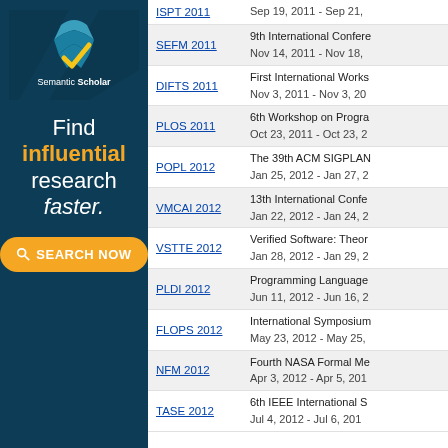[Figure (logo): Semantic Scholar logo and 'Find influential research faster.' advertisement with orange SEARCH NOW button on dark teal background]
| Conference | Details |
| --- | --- |
| ISPT 2011 | Sep 19, 2011 - Sep 21, |
| SEFM 2011 | 9th International Confere...
Nov 14, 2011 - Nov 18, |
| DIFTS 2011 | First International Works...
Nov 3, 2011 - Nov 3, 20 |
| PLOS 2011 | 6th Workshop on Progra...
Oct 23, 2011 - Oct 23, 2 |
| POPL 2012 | The 39th ACM SIGPLAN...
Jan 25, 2012 - Jan 27, 2 |
| VMCAI 2012 | 13th International Confe...
Jan 22, 2012 - Jan 24, 2 |
| VSTTE 2012 | Verified Software: Theor...
Jan 28, 2012 - Jan 29, 2 |
| PLDI 2012 | Programming Language...
Jun 11, 2012 - Jun 16, 2 |
| FLOPS 2012 | International Symposium...
May 23, 2012 - May 25, |
| NFM 2012 | Fourth NASA Formal Me...
Apr 3, 2012 - Apr 5, 201 |
| TASE 2012 | 6th IEEE International S...
Jul 4, 2012 - Jul 6, 201 |